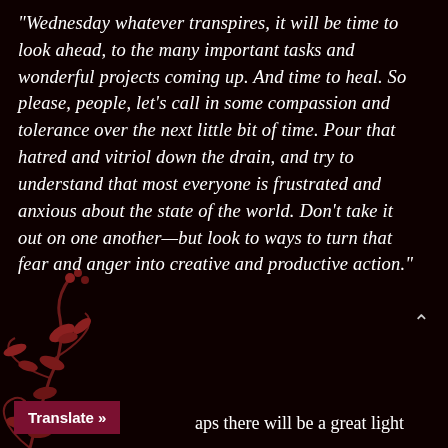“Wednesday whatever transpires, it will be time to look ahead, to the many important tasks and wonderful projects coming up. And time to heal. So please, people, let’s call in some compassion and tolerance over the next little bit of time. Pour that hatred and vitriol down the drain, and try to understand that most everyone is frustrated and anxious about the state of the world. Don’t take it out on one another—but look to ways to turn that fear and anger into creative and productive action.”
aps there will be a great light